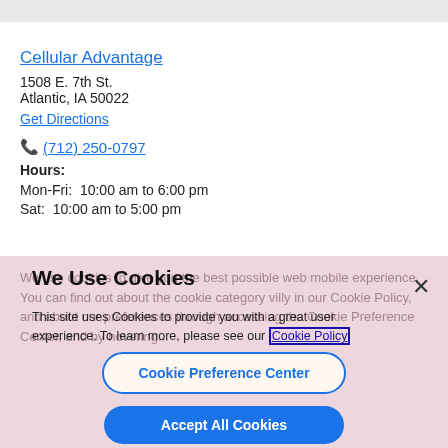Cellular Advantage
1508 E. 7th St.
Atlantic, IA 50022
Get Directions
(712) 250-0797
Hours:
Mon-Fri:  10:00 am to 6:00 pm
Sat:  10:00 am to 5:00 pm
We Use Cookies
This site uses Cookies to provide you with a great user experience. To learn more, please see our Cookie Policy
Cookie Preference Center
Accept All Cookies